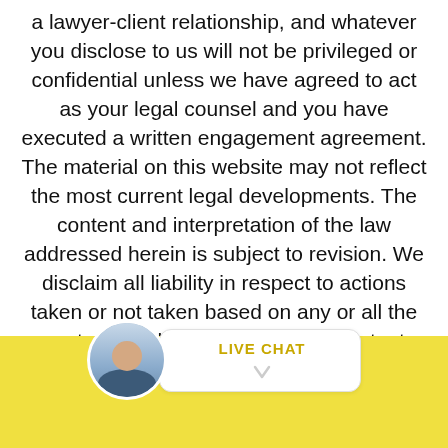a lawyer-client relationship, and whatever you disclose to us will not be privileged or confidential unless we have agreed to act as your legal counsel and you have executed a written engagement agreement. The material on this website may not reflect the most current legal developments. The content and interpretation of the law addressed herein is subject to revision. We disclaim all liability in respect to actions taken or not taken based on any or all the contents of this site to the fullest extent permitted by law. Do not act or refrain from acting upon this information without seeking professional legal counsel.
[Figure (other): Live chat widget with a circular avatar photo of a man in a suit on the left, and a white rounded speech bubble on the right containing the text 'LIVE CHAT' in yellow/gold bold uppercase letters with a downward arrow below it. The widget sits on a yellow background bar at the bottom of the page.]